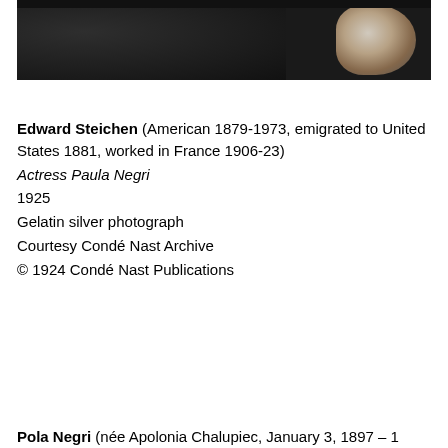[Figure (photo): Black and white photograph partially visible at top of page, showing a dark background with a light floral element (possibly a white flower or corsage) visible at upper right.]
Edward Steichen (American 1879-1973, emigrated to United States 1881, worked in France 1906-23)
Actress Paula Negri
1925
Gelatin silver photograph
Courtesy Condé Nast Archive
© 1924 Condé Nast Publications
Pola Negri (née Apolonia Chalupiec, January 3, 1897 – 1